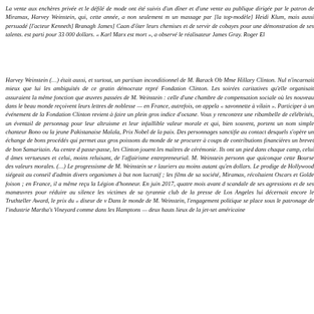La vente aux enchères privée et le défilé de mode ont été suivis d'un dîner et d'une vente au publique dirigée par le patron de Miramax, Harvey Weinstein, qui, cette année, a non seulement m un massage par [la top-modèle] Heidi Klum, mais aussi persuadé [l'acteur Kenneth] Branagh James] Caan d'ôter leurs chemises et de servir de cobayes pour une démonstration de ses talents. est parti pour 33 000 dollars. «Karl Marx est mort», a observé le réalisateur James Gray. Roger El
Harvey Weinstein (…) était aussi, et surtout, un partisan inconditionnel de M. Barack Ob Mme Hillary Clinton. Nul n'incarnait mieux que lui les ambiguïtés de ce gratin démocrate repré Fondation Clinton. Les soirées caritatives qu'elle organisait assuraient la même fonction que œuvres passées de M. Weinstein : celle d'une chambre de compensation sociale où les nouveau dans le beau monde reçoivent leurs lettres de noblesse — en France, autrefois, on appela « savonnette à vilain ». Participer à un événement de la Fondation Clinton revient à faire un plein gros indice d'octane. Vous y rencontrez une ribambelle de célébrités, un éventail de personnag pour leur altruisme et leur infaillible valeur morale et qui, bien souvent, portent un nom simple chanteur Bono ou la jeune Pakistanaise Malala, Prix Nobel de la paix. Des personnages sanctifie au contact desquels s'opère un échange de bons procédés qui permet aux gros poissons du monde de se procurer à coups de contributions financières un brevet de bon Samaritain. Au centre d passe-passe, les Clinton jouent les maîtres de cérémonie. Ils ont un pied dans chaque camp, celui d âmes vertueuses et celui, moins reluisant, de l'affairisme entrepreneurial. M. Weinstein personn que quiconque cette Bourse des valeurs morales. (…) Le progressisme de M. Weinstein se r lauriers au moins autant qu'en dollars. Le prodige de Hollywood siégeait au conseil d'admin divers organismes à but non lucratif ; les films de sa société, Miramax, récoltaient Oscars et Golde foison ; en France, il a même reçu la Légion d'honneur. En juin 2017, quatre mois avant d scandale de ses agressions et de ses manœuvres pour réduire au silence les victimes de sa tyrannie club de la presse de Los Angeles lui décernait encore le Truthteller Award, le prix du « diseur de v Dans le monde de M. Weinstein, l'engagement politique se place sous le patronage de l'industrie Martha's Vineyard comme dans les Hamptons — deux hauts lieux de la jet-set américaine